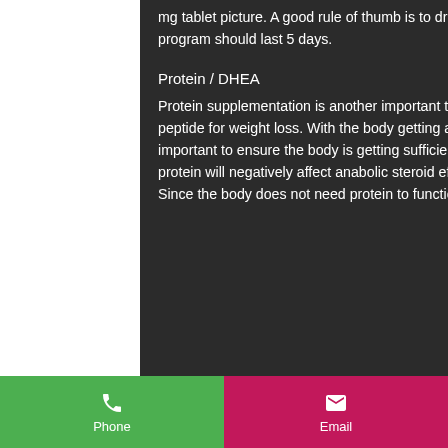mg tablet picture. A good rule of thumb is to drop 30% of your dosage over the duration of the program. The program should last 5 days.
Protein / DHEA
Protein supplementation is another important tool in helping to maintain a natural hormonal rhythm, what is the best peptide for weight loss. With the body getting accustomed to anabolic steroids, testosterone and other hormones, its important to ensure the body is getting sufficient amounts of amino acids, and protein intake is necessary. Too much protein will negatively affect anabolic steroid effects which are caused by increased blood flow to the muscle cell. Since the body does not need protein to function properly.
Phone  |  Email